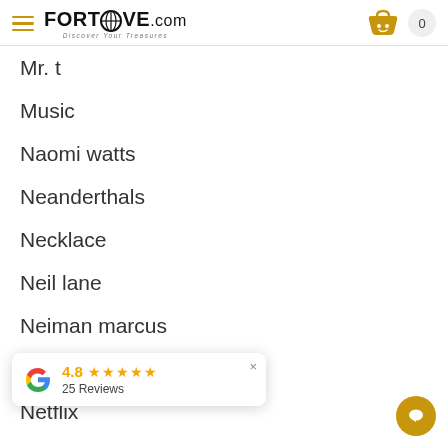FORTROVE.com — Discover Your Treasures | Cart: 0
Mr. t
Music
Naomi watts
Neanderthals
Necklace
Neil lane
Neiman marcus
Net a porter
Netflix
New york
New york city jewelry week
4.8 ★★★★★ 25 Reviews (Google popup)